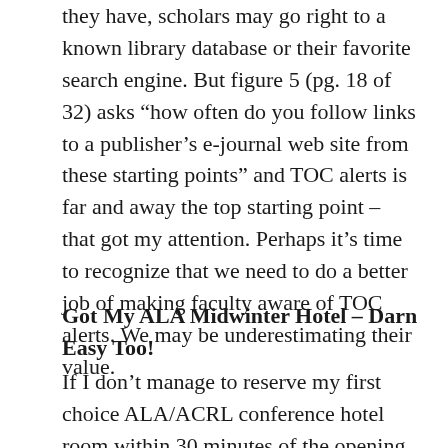they have, scholars may go right to a known library database or their favorite search engine. But figure 5 (pg. 18 of 32) asks “how often do you follow links to a publisher’s e-journal web site from these starting points” and TOC alerts is far and away the top starting point – that got my attention. Perhaps it’s time to recognize that we need to do a better job of making faculty aware of TOC alerts. We may be underestimating their value.
Got My ALA Midwinter Hotel – Darn Easy Too!
If I don’t manage to reserve my first choice ALA/ACRL conference hotel room within 30 minutes of the opening bell then I consider myself a failure. To me this represents an all